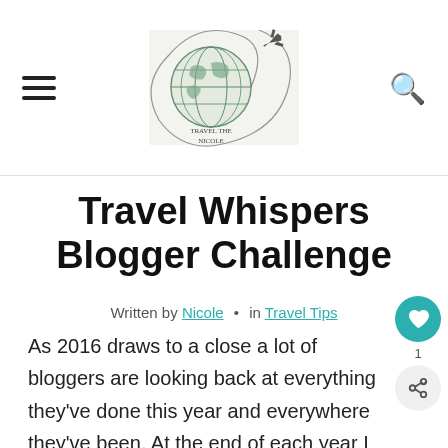[Figure (logo): Travel blog logo with a globe/world map illustration and circular scribble lines with a plane, text reads Travel the Nicole]
Travel Whispers Blogger Challenge
Written by Nicole • in Travel Tips
As 2016 draws to a close a lot of bloggers are looking back at everything they've done this year and everywhere they've been. At the end of each year I like to come up with my travel goals for the next year. Where I want to go and how I can fit it all in while